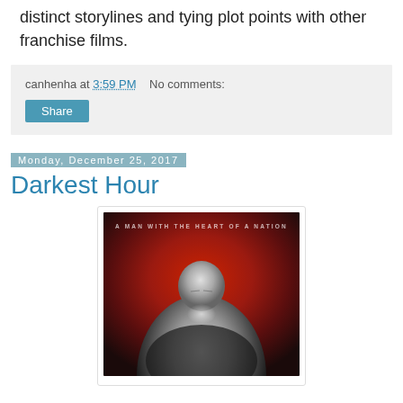distinct storylines and tying plot points with other franchise films.
canhenha at 3:59 PM   No comments:
Share
Monday, December 25, 2017
Darkest Hour
[Figure (photo): Movie poster for Darkest Hour: dark red background with a man in a suit bowing his head, tagline 'A MAN WITH THE HEART OF A NATION']